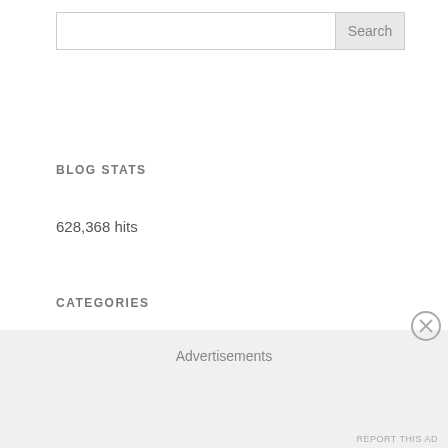[Figure (screenshot): Search input box with Search button]
BLOG STATS
628,368 hits
CATEGORIES
[Figure (screenshot): Select Category dropdown widget]
ARCHIVES
Advertisements
REPORT THIS AD